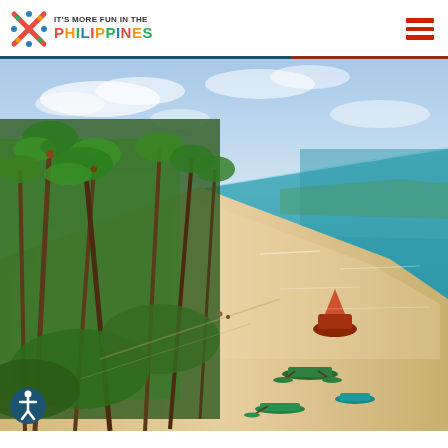IT'S MORE FUN IN THE PHILIPPINES
[Figure (photo): Aerial view of a tropical Philippine beach with white sand shoreline, lush coconut palm trees on the left, turquoise-blue ocean on the right, and several small fishing boats near the shore. Scenic coastline stretching into the distance under a partly cloudy blue sky.]